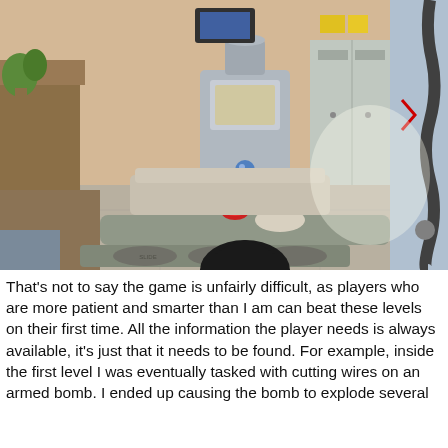[Figure (screenshot): First-person perspective screenshot from a video game showing an interior room with a robot-like machine, counters, lockers, a red button on a panel, and a black gloved hand at the bottom. The room has a medical or laboratory aesthetic.]
That's not to say the game is unfairly difficult, as players who are more patient and smarter than I am can beat these levels on their first time. All the information the player needs is always available, it's just that it needs to be found. For example, inside the first level I was eventually tasked with cutting wires on an armed bomb. I ended up causing the bomb to explode several